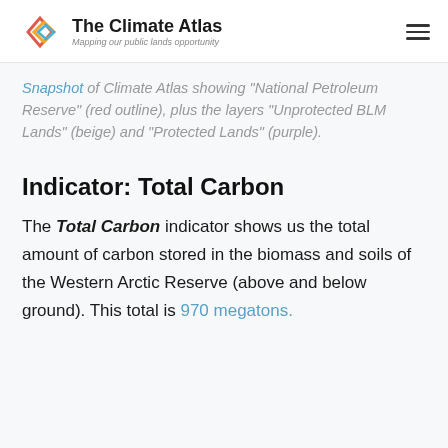The Climate Atlas — Mapping our public lands opportunity
Snapshot of Climate Atlas showing "National Petroleum Reserve" (red outline), plus the layers "Unprotected BLM Lands" (beige) and "Protected Lands" (purple).
Indicator: Total Carbon
The Total Carbon indicator shows us the total amount of carbon stored in the biomass and soils of the Western Arctic Reserve (above and below ground). This total is 970 megatons.